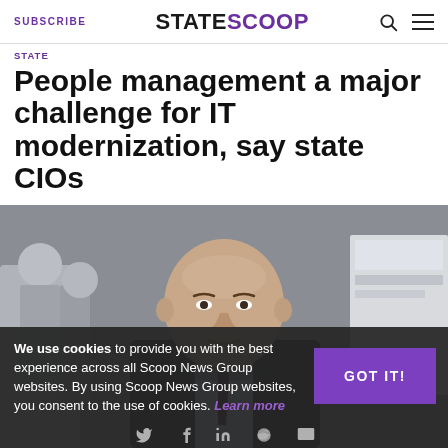SUBSCRIBE | STATESCOOP
STATE
People management a major challenge for IT modernization, say state CIOs
[Figure (photo): A bald man in a suit smiling at the camera, with blurred figures in the background at what appears to be a conference or event setting.]
We use cookies to provide you with the best experience across all Scoop News Group websites. By using Scoop News Group websites, you consent to the use of cookies. Learn more
GOT IT!